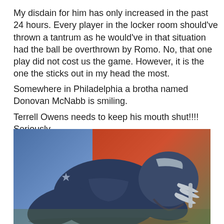My disdain for him has only increased in the past 24 hours. Every player in the locker room should've thrown a tantrum as he would've in that situation had the ball be overthrown by Romo. No, that one play did not cost us the game. However, it is the one the sticks out in my head the most.
Somewhere in Philadelphia a brotha named Donovan McNabb is smiling.
Terrell Owens needs to keep his mouth shut!!!! Seriously.....
[Figure (photo): A Dallas Cowboys NFL player wearing a dark navy blue jersey and helmet, bent over with head down in a dejected pose on the football field. The background is blurred with blue and red/orange tones.]